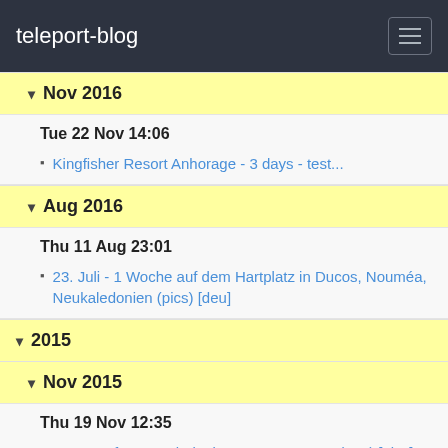teleport-blog
▾ Nov 2016
Tue 22 Nov 14:06
Kingfisher Resort Anhorage - 3 days - test...
▾ Aug 2016
Thu 11 Aug 23:01
23. Juli - 1 Woche auf dem Hartplatz in Ducos, Nouméa, Neukaledonien (pics) [deu]
▾ 2015
▾ Nov 2015
Thu 19 Nov 12:35
A Taste of New Caledonia - 29.9. - 22.11. - (eng) [pics]
▾ Oct 2015
Tue 20 Oct 02:05
Adventures on the Ocean - Catamaran IMPI, October 2015